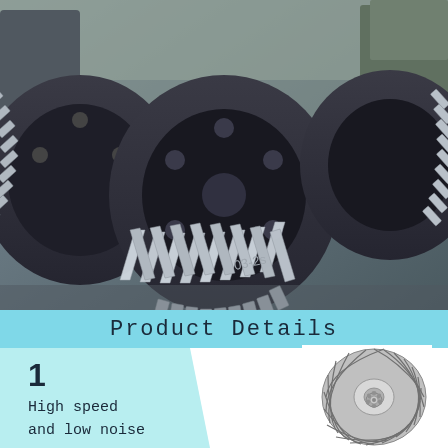[Figure (photo): Industrial helical and herringbone gears photographed in a manufacturing facility. Large metal gear wheels with herringbone tooth patterns are stacked and arranged on the factory floor, with industrial machinery in the background.]
Product Details
1
High speed
and low noise
[Figure (photo): A spiral bevel gear set (ring gear and pinion) photographed from above showing the spiral tooth pattern on a circular ring gear with a small pinion gear in the center.]